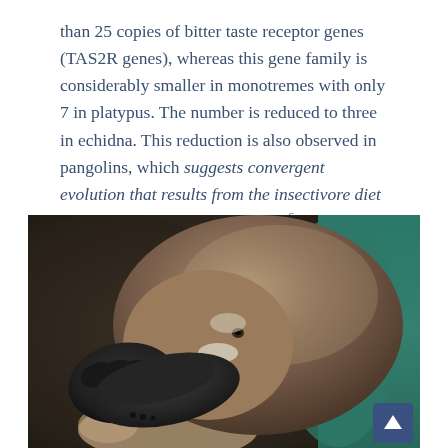than 25 copies of bitter taste receptor genes (TAS2R genes), whereas this gene family is considerably smaller in monotremes with only 7 in platypus. The number is reduced to three in echidna. This reduction is also observed in pangolins, which suggests convergent evolution that results from the insectivore diet of both echidnas and pangolins.[6]
[Figure (photo): Close-up photograph of a platypus being held in a person's hand, showing its distinctive dark bill and front paw, with brown fur body. Teal/green background visible on the right.]